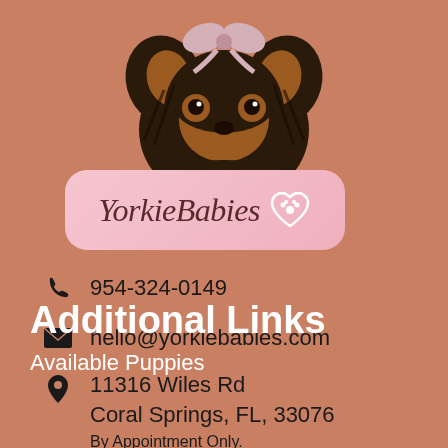[Figure (photo): Yorkshire Terrier puppy with bow, photographed from front against terracotta/salmon background]
[Figure (logo): YorkieBabies logo in pink rounded rectangle with cursive text and heart-paw icon]
954-324-0149
hello@yorkiebabies.com
11316 Wiles Rd
Coral Springs, FL, 33076
By Appointment Only.
Additional Links
Available Puppies